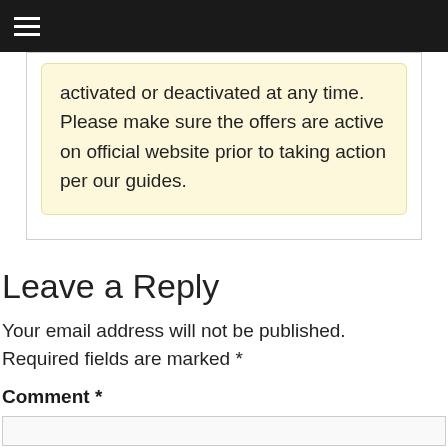≡
activated or deactivated at any time. Please make sure the offers are active on official website prior to taking action per our guides.
Leave a Reply
Your email address will not be published. Required fields are marked *
Comment *